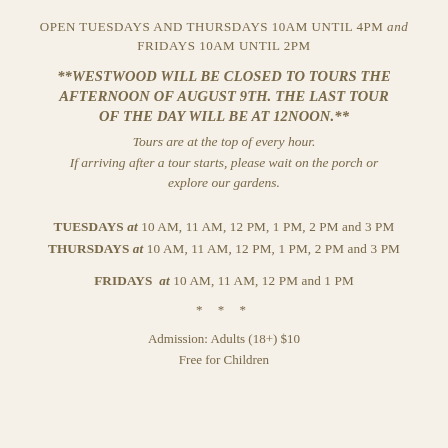OPEN TUESDAYS AND THURSDAYS 10AM UNTIL 4PM and FRIDAYS 10AM UNTIL 2PM
**WESTWOOD WILL BE CLOSED TO TOURS THE AFTERNOON OF AUGUST 9TH. THE LAST TOUR OF THE DAY WILL BE AT 12NOON.**
Tours are at the top of every hour. If arriving after a tour starts, please wait on the porch or explore our gardens.
TUESDAYS at 10 AM, 11 AM, 12 PM, 1 PM, 2 PM and 3 PM
THURSDAYS at 10 AM, 11 AM, 12 PM, 1 PM, 2 PM and 3 PM
FRIDAYS at 10 AM, 11 AM, 12 PM and 1 PM
* * *
Admission: Adults (18+) $10
Free for Children